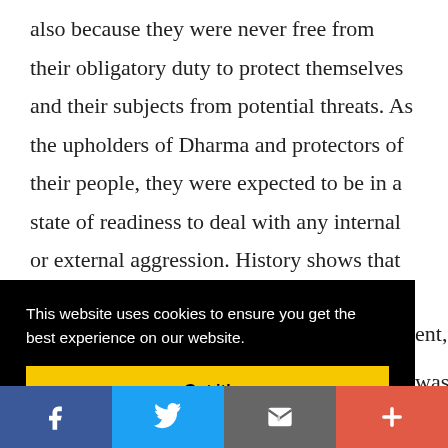also because they were never free from their obligatory duty to protect themselves and their subjects from potential threats. As the upholders of Dharma and protectors of their people, they were expected to be in a state of readiness to deal with any internal or external aggression. History shows that Indian kings maintained huge armies
This website uses cookies to ensure you get the best experience on our website.
Got it!
ent, was
[Figure (infographic): Social sharing bar at the bottom with four buttons: Facebook (blue), Twitter (light blue), Email/share (grey with envelope icon), and More/add (red-orange with plus sign)]